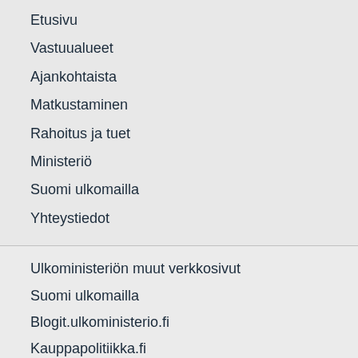Etusivu
Vastuualueet
Ajankohtaista
Matkustaminen
Rahoitus ja tuet
Ministeriö
Suomi ulkomailla
Yhteystiedot
Ulkoministeriön muut verkkosivut
Suomi ulkomailla
Blogit.ulkoministerio.fi
Kauppapolitiikka.fi
Kehityslehti.fi
Eurooppatiedotus.fi
thisisFINLAND.fi